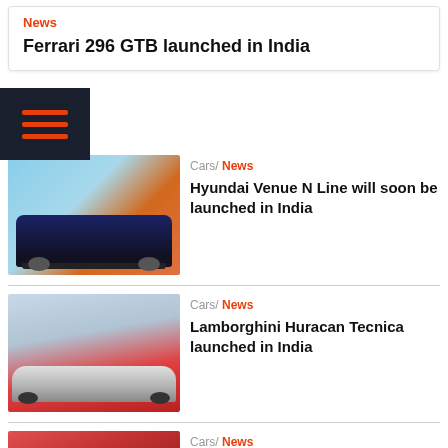News
Ferrari 296 GTB launched in India
[Figure (illustration): Dark navy hamburger menu icon with three orange horizontal lines on dark background]
Cars/ News
[Figure (photo): Blue Hyundai Venue N Line SUV on orange/desert background]
Hyundai Venue N Line will soon be launched in India
Cars/ News
[Figure (photo): Lamborghini Huracan Tecnica silver/grey sports car on red background]
Lamborghini Huracan Tecnica launched in India
Cars/ News
[Figure (photo): Mercedes-AMG EOS 53 partially visible on red/dark background]
Mercedes-AMG EOS 53